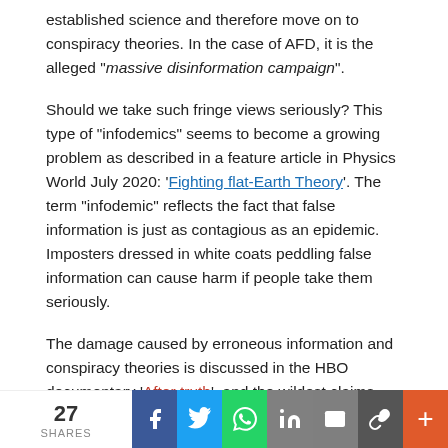established science and therefore move on to conspiracy theories. In the case of AFD, it is the alleged “massive disinformation campaign”.
Should we take such fringe views seriously? This type of “infodemics” seems to become a growing problem as described in a feature article in Physics World July 2020: ‘Fighting flat-Earth Theory’. The term “infodemic” reflects the fact that false information is just as contagious as an epidemic. Imposters dressed in white coats peddling false information can cause harm if people take them seriously.
The damage caused by erroneous information and conspiracy theories is discussed in the HBO documentary ‘After truth’, and the wildest claims can spread like a rampant disease as shown in that film.
We have witnessed how misinformation and lack of trust of
27 SHARES | Facebook | Twitter | WhatsApp | LinkedIn | Email | Copy Link | More